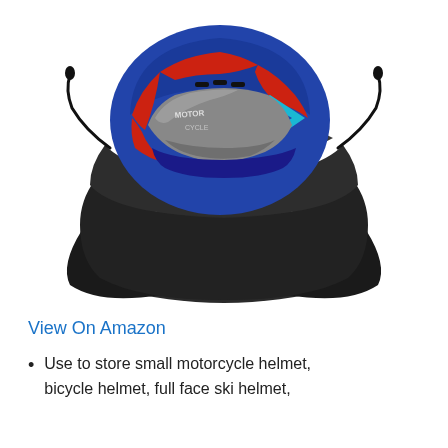[Figure (photo): A black drawstring helmet bag with a red, blue, and silver full-face motorcycle helmet partially inserted into it, shown on a white background.]
View On Amazon
Use to store small motorcycle helmet, bicycle helmet, full face ski helmet,